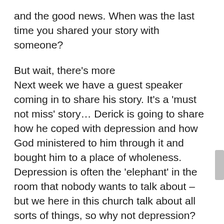and the good news. When was the last time you shared your story with someone?
But wait, there’s more
Next week we have a guest speaker coming in to share his story. It’s a ‘must not miss’ story… Derick is going to share how he coped with depression and how God ministered to him through it and bought him to a place of wholeness. Depression is often the ‘elephant’ in the room that nobody wants to talk about – but we here in this church talk about all sorts of things, so why not depression? He’s a good bloke, Derick, and so I encourage you not to make next week a ‘let’s skip church’ week.
But wait there’s more